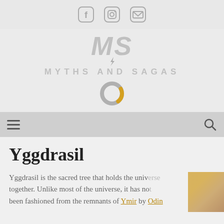[Social bar with Facebook, Instagram, Email icons]
[Figure (logo): Myths and Sagas logo: large stylized MS monogram in gray italic bold, below it the text MYTHS AND SAGAS in spaced gray capitals, with a donut/ring loading spinner in gray and gold below]
[Navigation bar with hamburger menu icon on left and search icon on right]
Yggdrasil
Yggdrasil is the sacred tree that holds the universe together. Unlike most of the universe, it has not been fashioned from the remnants of Ymir by Odin…